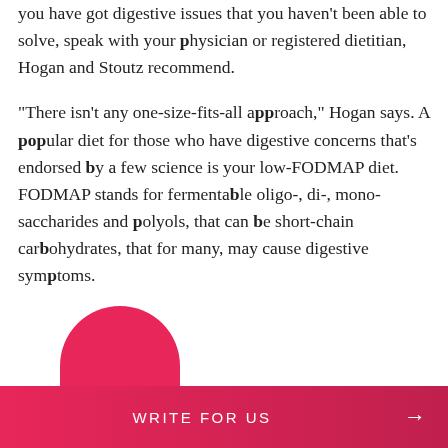you have got digestive issues that you haven't been able to solve, speak with your physician or registered dietitian, Hogan and Stoutz recommend.
"There isn't any one-size-fits-all approach," Hogan says. A popular diet for those who have digestive concerns that's endorsed by a few science is your low-FODMAP diet. FODMAP stands for fermentable oligo-, di-, mono-saccharides and polyols, that can be short-chain carbohydrates, that for many, may cause digestive symptoms.
WRITE FOR US